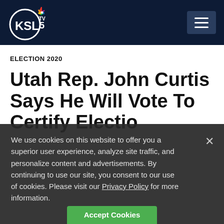KSL TV 5 NBC — navigation header
ELECTION 2020
Utah Rep. John Curtis Says He Will Vote To Certify Election
We use cookies on this website to offer you a superior user experience, analyze site traffic, and personalize content and advertisements. By continuing to use our site, you consent to our use of cookies. Please visit our Privacy Policy for more information.
Accept Cookies